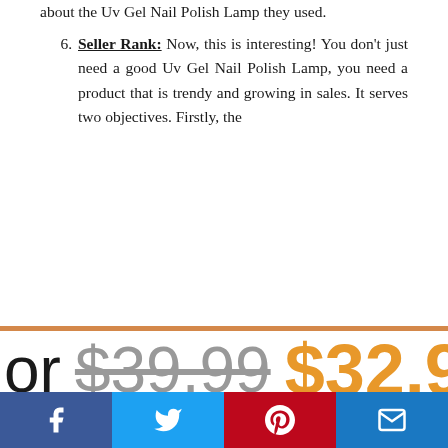about the Uv Gel Nail Polish Lamp they used.
6. Seller Rank: Now, this is interesting! You don't just need a good Uv Gel Nail Polish Lamp, you need a product that is trendy and growing in sales. It serves two objectives. Firstly, the
or $39.99 $32.99
UNUV Gel Nail Lig
prime
Facebook Twitter Pinterest Email